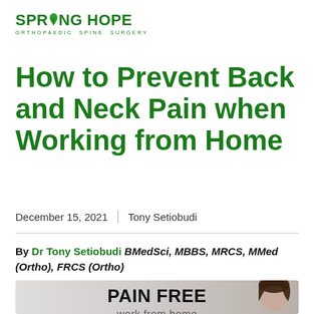[Figure (logo): Spring Hope Orthopaedic Spine Surgery logo with green leaf icon]
How to Prevent Back and Neck Pain when Working from Home
December 15, 2021 | Tony Setiobudi
By Dr Tony Setiobudi BMedSci, MBBS, MRCS, MMed (Ortho), FRCS (Ortho)
[Figure (photo): Promotional image with text PAIN FREE work from home and a woman holding her neck in pain on the right side]